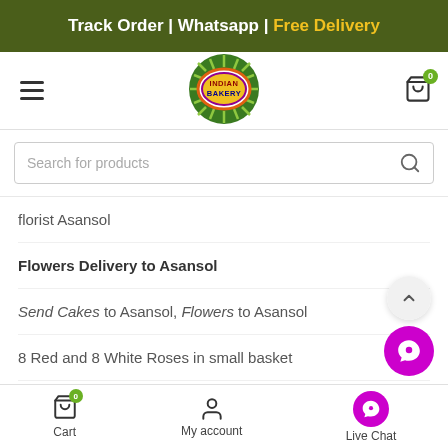Track Order | Whatsapp | Free Delivery
[Figure (logo): Indian Bakery circular logo with green radial lines]
Search for products
florist Asansol
Flowers Delivery to Asansol
Send Cakes to Asansol, Flowers to Asansol
8 Red and 8 White Roses in small basket
Cart   My account   Live Chat